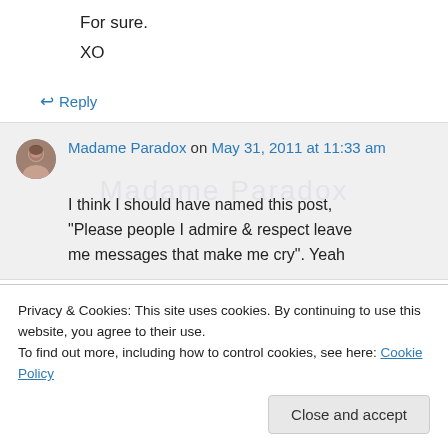For sure.
XO
↩ Reply
Madame Paradox on May 31, 2011 at 11:33 am
I think I should have named this post, "Please people I admire & respect leave me messages that make me cry". Yeah who I was back then, I have to admit the
Privacy & Cookies: This site uses cookies. By continuing to use this website, you agree to their use.
To find out more, including how to control cookies, see here: Cookie Policy
Close and accept